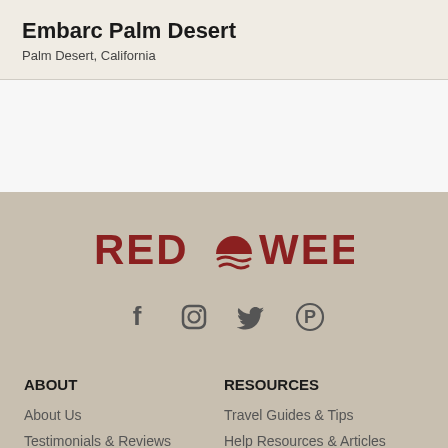Embarc Palm Desert
Palm Desert, California
[Figure (logo): RedWeek logo with sun/waves icon between RED and WEEK in red letters]
[Figure (infographic): Social media icons: Facebook, Instagram, Twitter, Pinterest]
ABOUT
About Us
Testimonials & Reviews
RESOURCES
Travel Guides & Tips
Help Resources & Articles